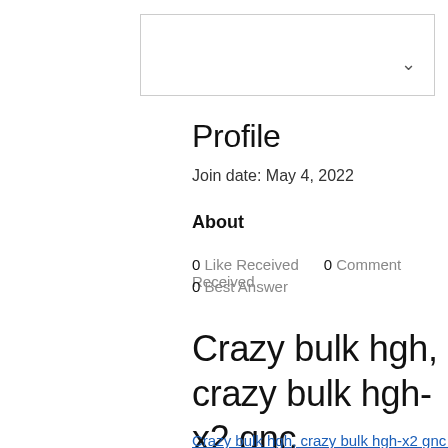[Figure (other): Dropdown/navigation bar with chevron icon on the right]
Profile
Join date: May 4, 2022
About
0 Like Received   0 Comment Received
0 Best Answer
Crazy bulk hgh, crazy bulk hgh-x2 gnc
Crazy bulk hgh, crazy bulk hgh-x2 gnc - Buy legal anabolic steroids
[Figure (photo): Dark image preview at bottom]